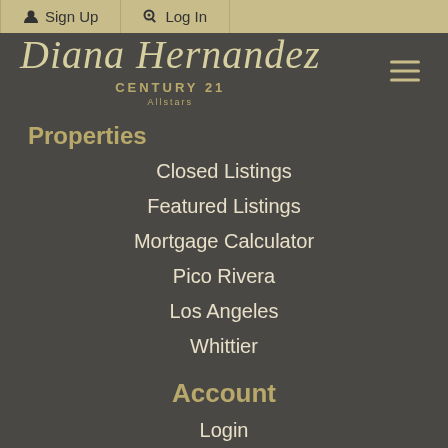Sign Up  Log In
[Figure (logo): Diana Hernandez Century 21 Allstars logo with script text and hamburger menu icon]
Properties
Closed Listings
Featured Listings
Mortgage Calculator
Pico Rivera
Los Angeles
Whittier
Account
Login